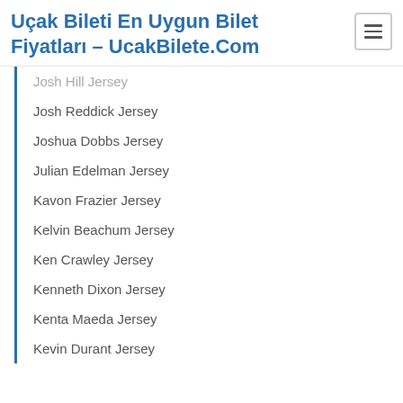Uçak Bileti En Uygun Bilet Fiyatları – UcakBilete.Com
Josh Hill Jersey
Josh Reddick Jersey
Joshua Dobbs Jersey
Julian Edelman Jersey
Kavon Frazier Jersey
Kelvin Beachum Jersey
Ken Crawley Jersey
Kenneth Dixon Jersey
Kenta Maeda Jersey
Kevin Durant Jersey